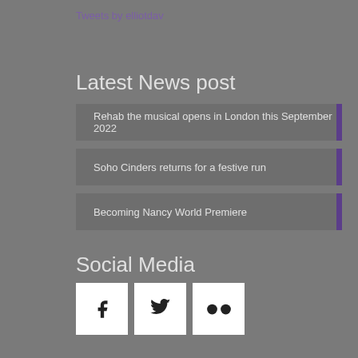Tweets by elliotdav
Latest News post
Rehab the musical opens in London this September 2022
Soho Cinders returns for a festive run
Becoming Nancy World Premiere
Social Media
[Figure (other): Social media icons: Facebook, Twitter, Flickr]